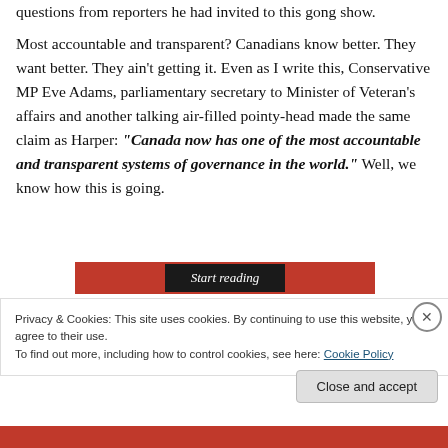questions from reporters he had invited to this gong show.
Most accountable and transparent? Canadians know better. They want better. They ain't getting it. Even as I write this, Conservative MP Eve Adams, parliamentary secretary to Minister of Veteran's affairs and another talking air-filled pointy-head made the same claim as Harper: "Canada now has one of the most accountable and transparent systems of governance in the world." Well, we know how this is going.
[Figure (other): A 'Start reading' button bar in dark red/black colors]
Privacy & Cookies: This site uses cookies. By continuing to use this website, you agree to their use. To find out more, including how to control cookies, see here: Cookie Policy
Close and accept